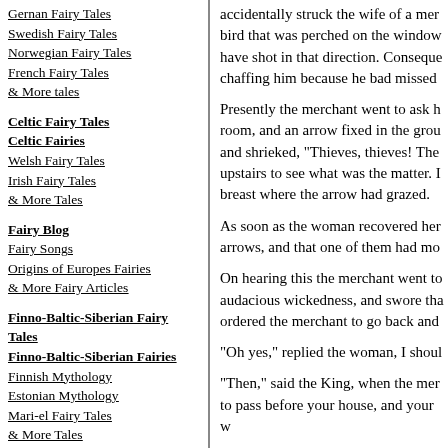Gernan Fairy Tales
Swedish Fairy Tales
Norwegian Fairy Tales
French Fairy Tales
& More tales
Celtic Fairy Tales
Celtic Fairies
Welsh Fairy Tales
Irish Fairy Tales
& More Tales
Fairy Blog
Fairy Songs
Origins of Europes Fairies
& More Fairy Articles
Finno-Baltic-Siberian Fairy Tales
Finno-Baltic-Siberian Fairies
Finnish Mythology
Estonian Mythology
Mari-el Fairy Tales
& More Tales
Greco-Roman Mythology
Greco-Roman Fairies
Greek Fairy Tales
Roman Mythology
accidentally struck the wife of a mer bird that was perched on the window have shot in that direction. Conseque chaffing him because he bad missed
Presently the merchant went to ask h room, and an arrow fixed in the grou and shrieked, "Thieves, thieves! The upstairs to see what was the matter. I breast where the arrow had grazed.
As soon as the woman recovered her arrows, and that one of them had mo
On hearing this the merchant went to audacious wickedness, and swore tha ordered the merchant to go back and
"Oh yes," replied the woman, I shoul
"Then," said the King, when the mer to pass before your house, and your w
A royal proclamation was issued to t upwards, assembled and marched by